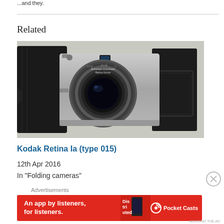...and they.
Related
[Figure (photo): A Kodak Retina Ia folding camera (type 015) shown open with leather case panels visible, silver body with black lens assembly, aperture and shutter controls visible on the lens ring.]
Kodak Retina Ia (type 015)
12th Apr 2016
In "Folding cameras"
Advertisements
[Figure (screenshot): Pocket Casts advertisement banner: red background with white text 'An app by listeners, for listeners.' with Dis-tri-buted text and Pocket Casts logo on the right.]